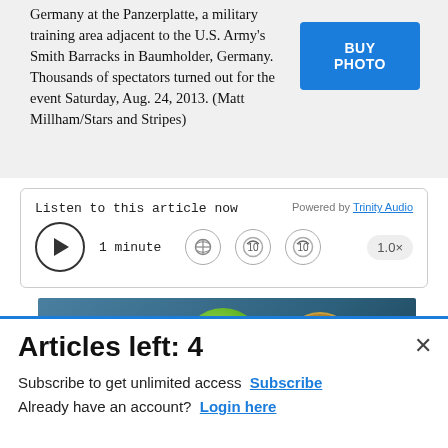Germany at the Panzerplatte, a military training area adjacent to the U.S. Army's Smith Barracks in Baumholder, Germany. Thousands of spectators turned out for the event Saturday, Aug. 24, 2013. (Matt Millham/Stars and Stripes)
[Figure (other): BUY PHOTO button (blue rectangular button)]
[Figure (other): Audio player widget: Listen to this article now, 1 minute, Powered by Trinity Audio, play button, globe icon, rewind 10, forward 10, 1.0x speed]
[Figure (other): Commissary Click2Go advertisement banner with green circle logo and Commissary badge logo on dark blue background, order groceries text]
Articles left: 4
Subscribe to get unlimited access Subscribe
Already have an account? Login here